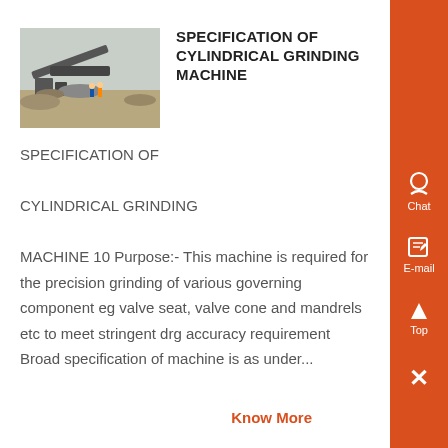[Figure (photo): Outdoor industrial grinding/mining machine setup with workers and equipment on sandy terrain]
SPECIFICATION OF CYLINDRICAL GRINDING MACHINE
SPECIFICATION OF CYLINDRICAL GRINDING MACHINE 10 Purpose:- This machine is required for the precision grinding of various governing component eg valve seat, valve cone and mandrels etc to meet stringent drg accuracy requirement Broad specification of machine is as under...
Know More